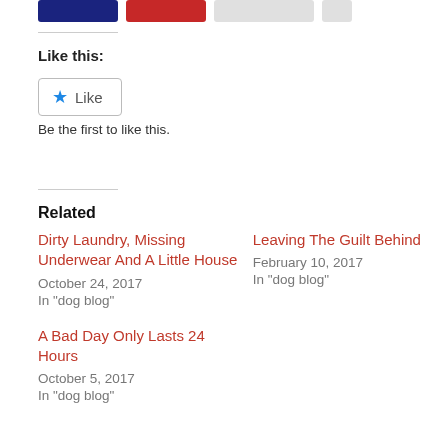[Figure (other): Social share buttons row: dark blue button, red button, light gray button, and small gray button]
Like this:
[Figure (other): Like button widget with blue star icon and 'Like' text inside a rounded border box]
Be the first to like this.
Related
Dirty Laundry, Missing Underwear And A Little House
October 24, 2017
In "dog blog"
A Bad Day Only Lasts 24 Hours
October 5, 2017
In "dog blog"
Leaving The Guilt Behind
February 10, 2017
In "dog blog"